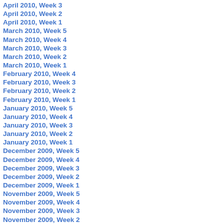April 2010, Week 3
April 2010, Week 2
April 2010, Week 1
March 2010, Week 5
March 2010, Week 4
March 2010, Week 3
March 2010, Week 2
March 2010, Week 1
February 2010, Week 4
February 2010, Week 3
February 2010, Week 2
February 2010, Week 1
January 2010, Week 5
January 2010, Week 4
January 2010, Week 3
January 2010, Week 2
January 2010, Week 1
December 2009, Week 5
December 2009, Week 4
December 2009, Week 3
December 2009, Week 2
December 2009, Week 1
November 2009, Week 5
November 2009, Week 4
November 2009, Week 3
November 2009, Week 2
November 2009, Week 1
October 2009, Week 5
October 2009, Week 4
October 2009, Week 3